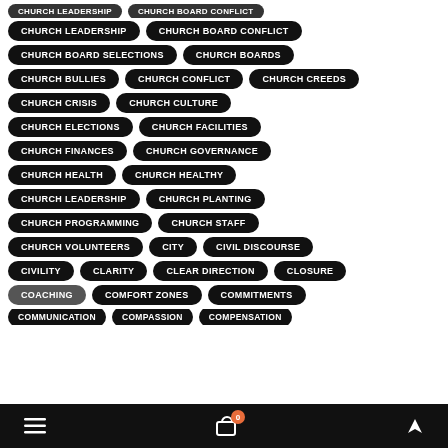CHURCH LEADERSHIP
CHURCH BOARD CONFLICT
CHURCH BOARD SELECTIONS
CHURCH BOARDS
CHURCH BULLIES
CHURCH CONFLICT
CHURCH CREEDS
CHURCH CRISIS
CHURCH CULTURE
CHURCH ELECTIONS
CHURCH FACILITIES
CHURCH FINANCES
CHURCH GOVERNANCE
CHURCH HEALTH
CHURCH HEALTHY
CHURCH LEADERSHIP
CHURCH PLANTING
CHURCH PROGRAMMING
CHURCH STAFF
CHURCH VOLUNTEERS
CITY
CIVIL DISCOURSE
CIVILITY
CLARITY
CLEAR DIRECTION
CLOSURE
COACHING
COMFORT ZONES
COMMITMENTS
COMMUNICATION
COMPASSION
COMPENSATION
≡  🛒 0  ▲